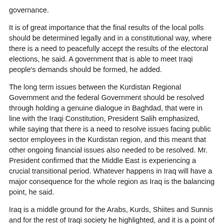governance.
It is of great importance that the final results of the local polls should be determined legally and in a constitutional way, where there is a need to peacefully accept the results of the electoral elections, he said. A government that is able to meet Iraqi people's demands should be formed, he added.
The long term issues between the Kurdistan Regional Government and the federal Government should be resolved through holding a genuine dialogue in Baghdad, that were in line with the Iraqi Constitution, President Salih emphasized, while saying that there is a need to resolve issues facing public sector employees in the Kurdistan region, and this meant that other ongoing financial issues also needed to be resolved. Mr. President confirmed that the Middle East is experiencing a crucial transitional period. Whatever happens in Iraq will have a major consequence for the whole region as Iraq is the balancing point, he said.
Iraq is a middle ground for the Arabs, Kurds, Shiites and Sunnis and for the rest of Iraqi society he highlighted, and it is a point of cooperation and inclusion for all regional States and for all Arabs, Persians and Turks.